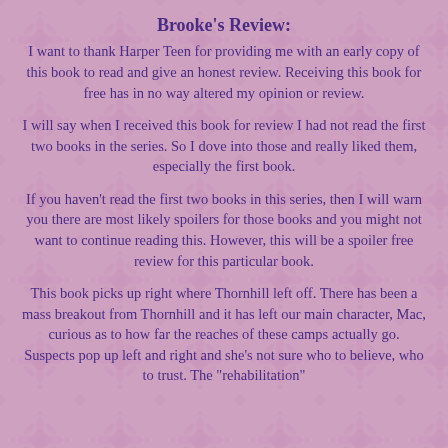Brooke's Review:
I want to thank Harper Teen for providing me with an early copy of this book to read and give an honest review. Receiving this book for free has in no way altered my opinion or review.
I will say when I received this book for review I had not read the first two books in the series. So I dove into those and really liked them, especially the first book.
If you haven't read the first two books in this series, then I will warn you there are most likely spoilers for those books and you might not want to continue reading this. However, this will be a spoiler free review for this particular book.
This book picks up right where Thornhill left off. There has been a mass breakout from Thornhill and it has left our main character, Mac, curious as to how far the reaches of these camps actually go. Suspects pop up left and right and she's not sure who to believe, who to trust. The "rehabilitation"